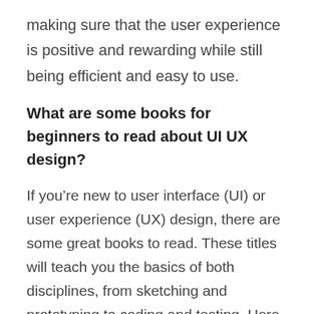making sure that the user experience is positive and rewarding while still being efficient and easy to use.
What are some books for beginners to read about UI UX design?
If you’re new to user interface (UI) or user experience (UX) design, there are some great books to read. These titles will teach you the basics of both disciplines, from sketching and prototyping to coding and testing. Here are books that would be a good starting point: